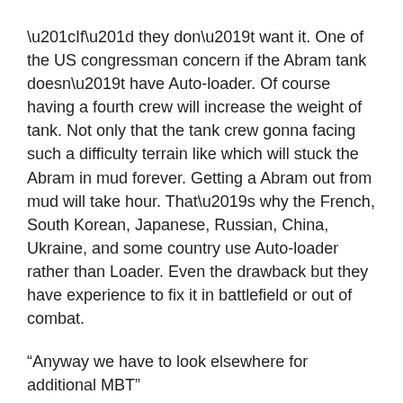“If” they don’t want it. One of the US congressman concern if the Abram tank doesn’t have Auto-loader. Of course having a fourth crew will increase the weight of tank. Not only that the tank crew gonna facing such a difficulty terrain like which will stuck the Abram in mud forever. Getting a Abram out from mud will take hour. That’s why the French, South Korean, Japanese, Russian, China, Ukraine, and some country use Auto-loader rather than Loader. Even the drawback but they have experience to fix it in battlefield or out of combat.
“Anyway we have to look elsewhere for additional MBT”
You mean Poles PL-01? That’s true but that doesn’t mean they ignore Leopard 2 upgrade and the Poles Goverment has interest to join France and German new generation tank project. And then You can’t blame Russian for shooting MH17 without hard evidence, Chinese of course always issue on SCS, and Ukraine facing trouble economic too. South Africa olifant replacement was name Project Aorta which wheather they